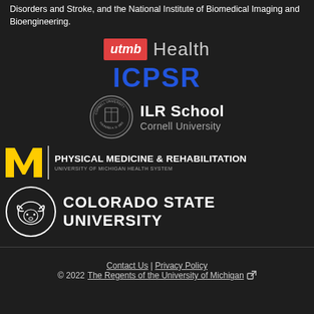Disorders and Stroke, and the National Institute of Biomedical Imaging and Bioengineering.
[Figure (logo): UTMB Health logo with red box containing italic 'utmb' and 'Health' text]
[Figure (logo): ICPSR logo in blue bold large letters]
[Figure (logo): Cornell University ILR School logo with seal and text]
[Figure (logo): University of Michigan Physical Medicine & Rehabilitation logo with yellow M]
[Figure (logo): Colorado State University logo with ram head seal]
Contact Us | Privacy Policy
© 2022 The Regents of the University of Michigan